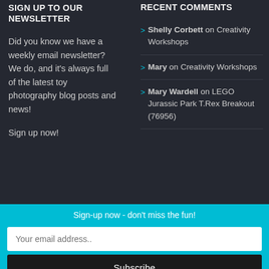SIGN UP TO OUR NEWSLETTER
Did you know we have a weekly email newsletter? We do, and it's always full of the latest toy photography blog posts and news!
Sign up now!
RECENT COMMENTS
Shelly Corbett on Creativity Workshops
Mary on Creativity Workshops
Mary Wardell on LEGO Jurassic Park T.Rex Breakout (76956)
Sign-up now - don't miss the fun!
Your email address..
Subscribe